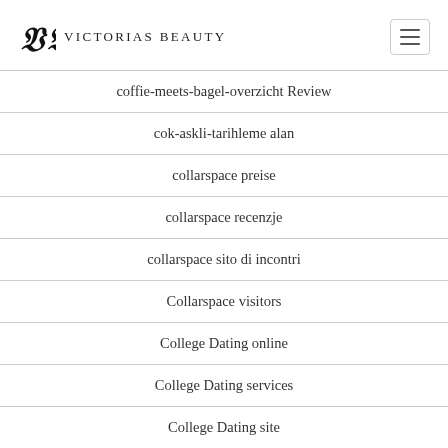Victorias Beauty
coffie-meets-bagel-overzicht Review
cok-askli-tarihleme alan
collarspace preise
collarspace recenzje
collarspace sito di incontri
Collarspace visitors
College Dating online
College Dating services
College Dating site